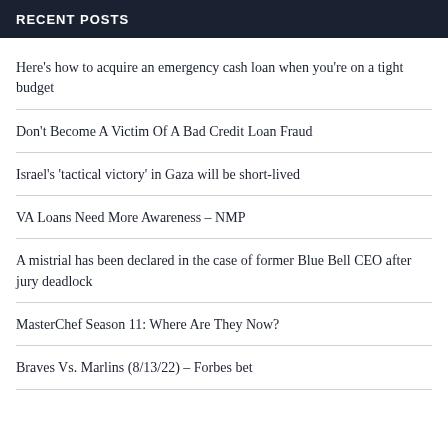RECENT POSTS
Here's how to acquire an emergency cash loan when you're on a tight budget
Don't Become A Victim Of A Bad Credit Loan Fraud
Israel's 'tactical victory' in Gaza will be short-lived
VA Loans Need More Awareness – NMP
A mistrial has been declared in the case of former Blue Bell CEO after jury deadlock
MasterChef Season 11: Where Are They Now?
Braves Vs. Marlins (8/13/22) – Forbes bet